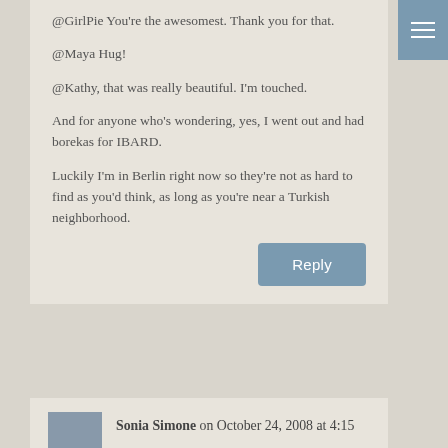@GirlPie You're the awesomest. Thank you for that.

@Maya Hug!

@Kathy, that was really beautiful. I'm touched.

And for anyone who's wondering, yes, I went out and had borekas for IBARD.

Luckily I'm in Berlin right now so they're not as hard to find as you'd think, as long as you're near a Turkish neighborhood.
Sonia Simone on October 24, 2008 at 4:15